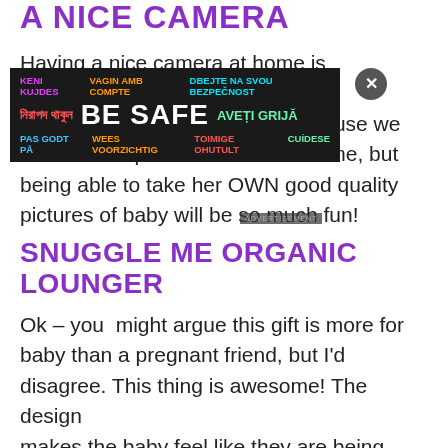A NICE CAMERA
Having a nice camera at home is something – because we all have our phone on us all the time, but being able to take her OWN good quality pictures of baby will be so much fun!
[Figure (infographic): Advertisement overlay banner with multilingual 'BE SAFE' message and close button]
SNUGGLE ME ORGANIC LOUNGER
Ok – you  might argue this gift is more for baby than a pregnant friend, but I'd disagree. This thing is awesome! The design makes the baby feel like they are being hugged and snuggled, which can give mom a much-needed break for a few moments. Plus, it is machine washable and hypoallergenic. Splitting the cost of this